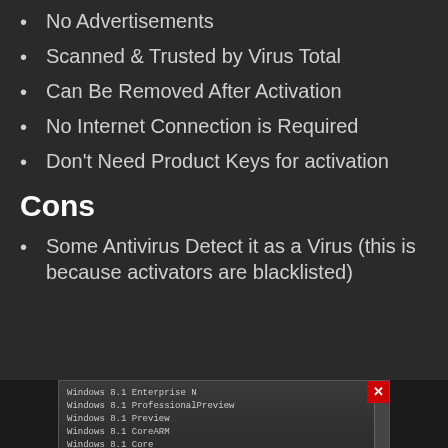No Advertisements
Scanned & Trusted by Virus Total
Can Be Removed After Activation
No Internet Connection is Required
Don't Need Product Keys for activation
Cons
Some Antivirus Detect it as a Virus (this is because activators are blacklisted)
[Figure (screenshot): A screenshot of a Windows 8.1 activation tool showing a list of Windows versions: Windows 8.1 Enterprise N, Windows 8.1 Professional Preview, Windows 8.1 Preview, Windows 8.1 CoreARM, Windows 8.1 Core, with a scrollbar and red close button.]